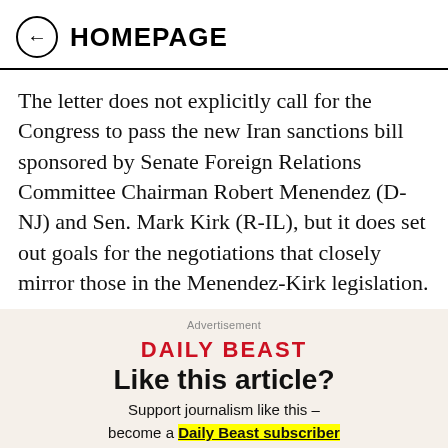← HOMEPAGE
The letter does not explicitly call for the Congress to pass the new Iran sanctions bill sponsored by Senate Foreign Relations Committee Chairman Robert Menendez (D-NJ) and Sen. Mark Kirk (R-IL), but it does set out goals for the negotiations that closely mirror those in the Menendez-Kirk legislation.
Advertisement
DAILY BEAST
Like this article?
Support journalism like this – become a Daily Beast subscriber for less than 11¢ per day.